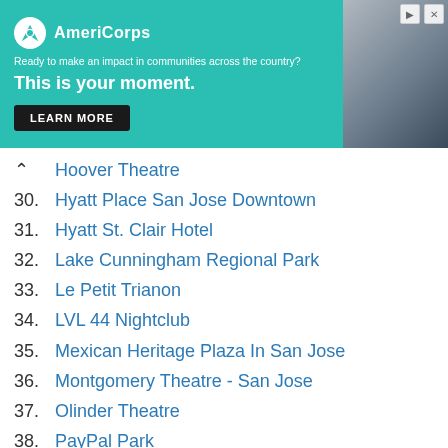[Figure (other): AmeriCorps advertisement banner. Text: 'Ready to make an impact in communities across the country? This is your moment. LEARN MORE'. Teal/green background with photo of person on right side.]
Hoover Theatre
30. Hyatt Place San Jose Downtown
31. Hyatt St. Clair Hotel
32. Lake Cunningham Regional Park
33. Le Petit Trianon
34. LVL 44 Nightclub
35. Mexican Heritage Plaza In San Jose
36. Montgomery Theatre - San Jose
37. Olinder Theatre
38. PayPal Park
39. Plaza de Cesar Chavez
40. Poor House Bistro Studio
41. Poor House Studio
42. Provident Credit Union Event Center
43. Raging Waters - San Jose
44. Redemption Church Bay Area
45. RockBar Theater
46. San Jose Airport Garden Hotel
47. San Jose Center For The Performing Arts